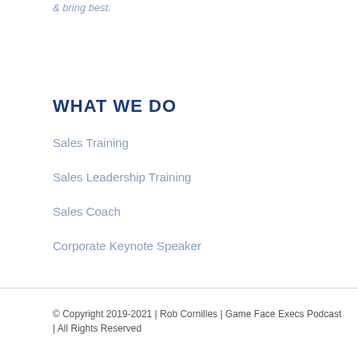& bring best.
WHAT WE DO
Sales Training
Sales Leadership Training
Sales Coach
Corporate Keynote Speaker
© Copyright 2019-2021 | Rob Cornilles | Game Face Execs Podcast | All Rights Reserved